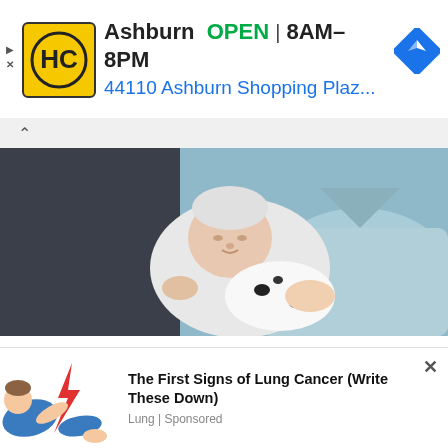[Figure (screenshot): Advertisement banner for HC store in Ashburn showing logo, OPEN status, hours 8AM-8PM, and address 44110 Ashburn Shopping Plaz...]
[Figure (photo): Hero photo showing a newborn baby being held by a person in a blue hospital gown]
Get Exclusive B&B Spoilers, Recaps & News In Your Inbox Daily!
Your first name
[Figure (illustration): Bottom advertisement showing an illustration of a person with lightning bolt and text: The First Signs of Lung Cancer (Write These Down) - Lung | Sponsored]